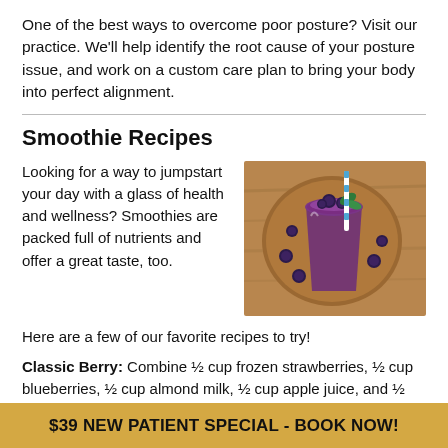One of the best ways to overcome poor posture? Visit our practice. We'll help identify the root cause of your posture issue, and work on a custom care plan to bring your body into perfect alignment.
Smoothie Recipes
Looking for a way to jumpstart your day with a glass of health and wellness? Smoothies are packed full of nutrients and offer a great taste, too.
[Figure (photo): Overhead photo of a purple blueberry smoothie in a glass on a wooden board, garnished with fresh blueberries and mint leaves, with a blue and white striped straw.]
Here are a few of our favorite recipes to try!
Classic Berry: Combine ½ cup frozen strawberries, ½ cup blueberries, ½ cup almond milk, ½ cup apple juice, and ½ frozen banana.
$39 NEW PATIENT SPECIAL - BOOK NOW!